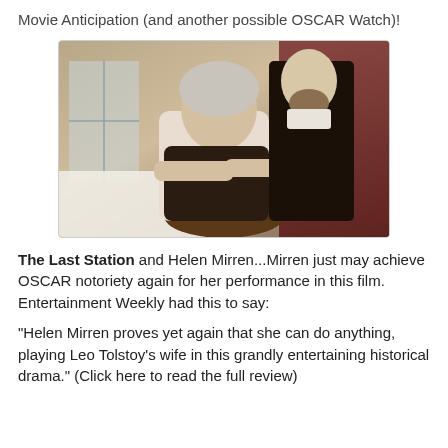Movie Anticipation (and another possible OSCAR Watch)!
[Figure (photo): Film still from The Last Station showing an elderly woman with grey hair holding the head of a person lying down, with a bearded man in black standing behind them in a period room with red curtains.]
The Last Station and Helen Mirren...Mirren just may achieve OSCAR notoriety again for her performance in this film.  Entertainment Weekly had this to say:
"Helen Mirren proves yet again that she can do anything, playing Leo Tolstoy's wife in this grandly entertaining historical drama." (Click here to read the full review)